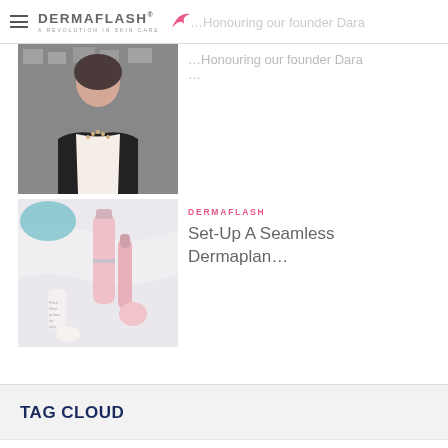DERMAFLASH A REVOLUTION IN SKIN CARE
[Figure (photo): Photo of a woman in a black leather jacket over a white top, standing in front of a wall with photos.]
...Honouring our founder Dara ...
[Figure (photo): Flat-lay photo of pink DERMAFLASH skincare device and products on a marble surface with teal/blue accessories.]
DERMAFLASH
Set-Up A Seamless Dermaplan...
TAG CLOUD